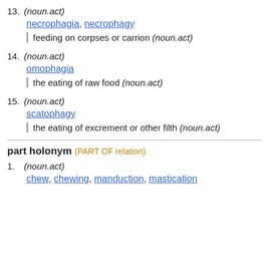13. (noun.act) necrophagia, necrophagy | feeding on corpses or carrion (noun.act)
14. (noun.act) omophagia | the eating of raw food (noun.act)
15. (noun.act) scatophagy | the eating of excrement or other filth (noun.act)
part holonym (PART OF relation)
1. (noun.act) chew, chewing, manduction, mastication